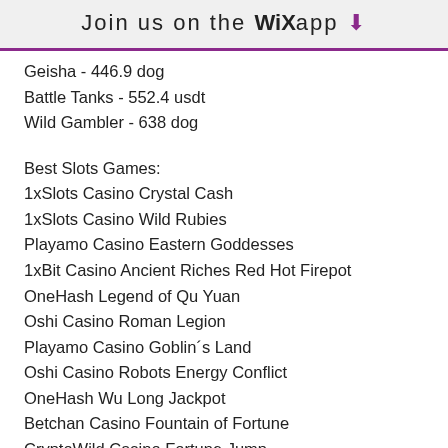Join us on the WiX app ↓
Geisha - 446.9 dog
Battle Tanks - 552.4 usdt
Wild Gambler - 638 dog
Best Slots Games:
1xSlots Casino Crystal Cash
1xSlots Casino Wild Rubies
Playamo Casino Eastern Goddesses
1xBit Casino Ancient Riches Red Hot Firepot
OneHash Legend of Qu Yuan
Oshi Casino Roman Legion
Playamo Casino Goblin´s Land
Oshi Casino Robots Energy Conflict
OneHash Wu Long Jackpot
Betchan Casino Fountain of Fortune
CryptoWild Casino Fortune Jump
mBTC free bet Cleopatra's Coins
Bitcoin Penguin Casino Starburst